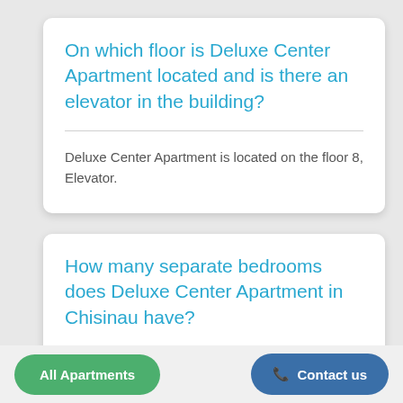On which floor is Deluxe Center Apartment located and is there an elevator in the building?
Deluxe Center Apartment is located on the floor 8, Elevator.
How many separate bedrooms does Deluxe Center Apartment in Chisinau have?
The Deluxe Center Apartment has 2 bedrooms.
All Apartments
Contact us